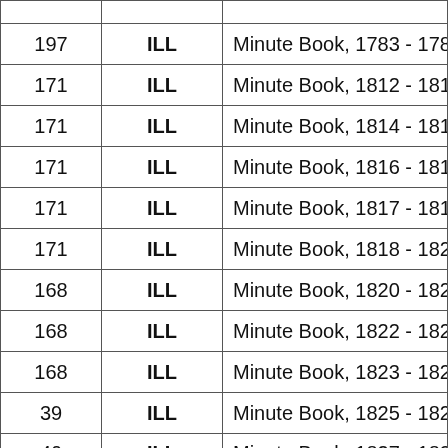|  |  |  |
| --- | --- | --- |
| 197 | ILL | Minute Book, 1783 - 1784 |
| 171 | ILL | Minute Book, 1812 - 1814 |
| 171 | ILL | Minute Book, 1814 - 1815 |
| 171 | ILL | Minute Book, 1816 - 1817 |
| 171 | ILL | Minute Book, 1817 - 1818, 168 p. |
| 171 | ILL | Minute Book, 1818 - 1820, 229 p. |
| 168 | ILL | Minute Book, 1820 - 1822, 370 p. |
| 168 | ILL | Minute Book, 1822 - 1823, 182 p. |
| 168 | ILL | Minute Book, 1823 - 1824, 186 p. |
| 39 | ILL | Minute Book, 1825 - 1827, 383 [1 |
| 40 | ILL | Minute Book, 1827 - 1831, 489 p. |